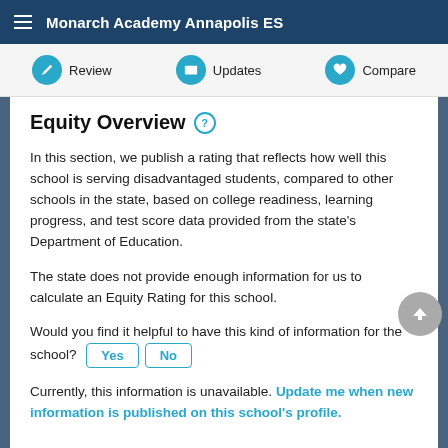Monarch Academy Annapolis ES
Equity Overview
In this section, we publish a rating that reflects how well this school is serving disadvantaged students, compared to other schools in the state, based on college readiness, learning progress, and test score data provided from the state's Department of Education.
The state does not provide enough information for us to calculate an Equity Rating for this school.
Would you find it helpful to have this kind of information for the school?
Currently, this information is unavailable. Update me when new information is published on this school's profile.